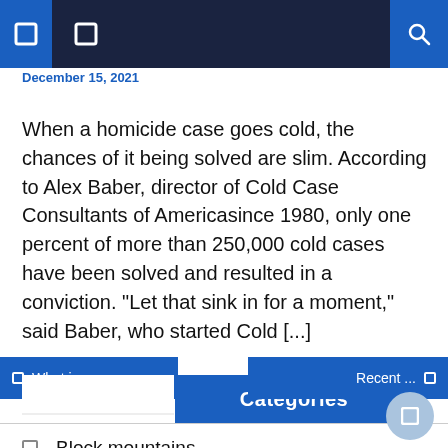December 15, 2021
When a homicide case goes cold, the chances of it being solved are slim. According to Alex Baber, director of Cold Case Consultants of Americasince 1980, only one percent of more than 250,000 cold cases have been solved and resulted in a conviction. “Let that sink in for a moment,” said Baber, who started Cold [...]
Categories
Block mountains
Fold mountains
Hotspot volcanoes